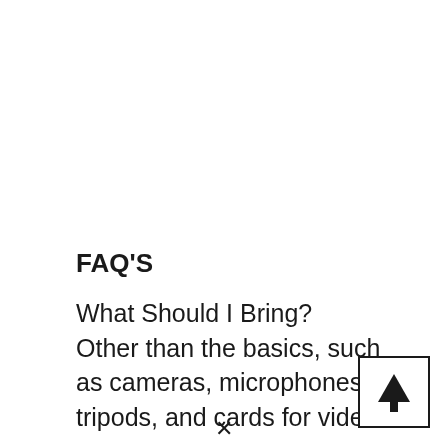FAQ'S
What Should I Bring?
Other than the basics, such as cameras, microphones, tripods, and cards for video
[Figure (other): Square button with upward arrow icon (navigation/scroll-to-top button)]